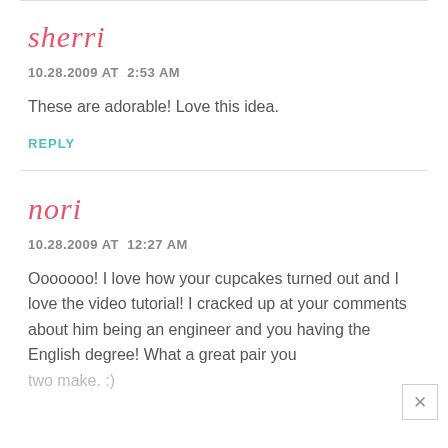sherri
10.28.2009 AT  2:53 AM
These are adorable! Love this idea.
REPLY
nori
10.28.2009 AT  12:27 AM
Ooooooo! I love how your cupcakes turned out and I love the video tutorial! I cracked up at your comments about him being an engineer and you having the English degree! What a great pair you two make. :)